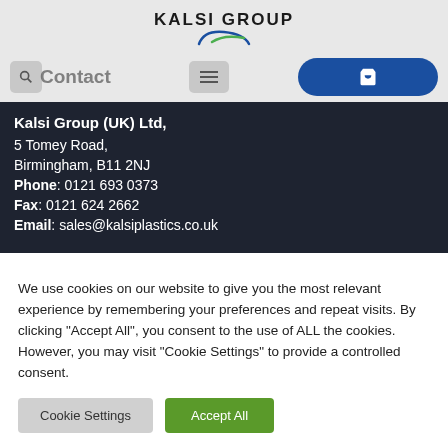[Figure (logo): Kalsi Group logo with arc graphic in blue and green, bold uppercase text 'KALSI GROUP']
Contact
Kalsi Group (UK) Ltd,
5 Tomey Road,
Birmingham, B11 2NJ
Phone: 0121 693 0373
Fax: 0121 624 2662
Email: sales@kalsiplastics.co.uk
We use cookies on our website to give you the most relevant experience by remembering your preferences and repeat visits. By clicking "Accept All", you consent to the use of ALL the cookies. However, you may visit "Cookie Settings" to provide a controlled consent.